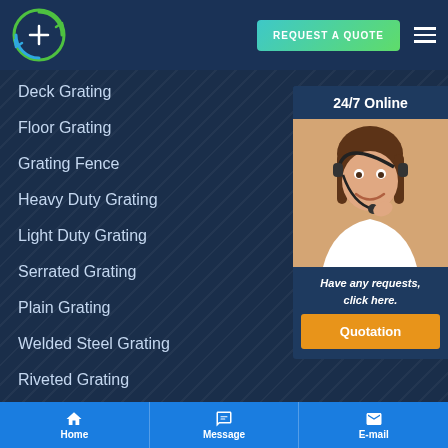[Figure (logo): Company logo: circular arrow design with blue and green colors]
REQUEST A QUOTE
Deck Grating
Floor Grating
Grating Fence
Heavy Duty Grating
Light Duty Grating
Serrated Grating
Plain Grating
Welded Steel Grating
Riveted Grating
24/7 Online
[Figure (photo): Customer service representative woman smiling with headset]
Have any requests, click here.
Quotation
Home | Message | E-mail